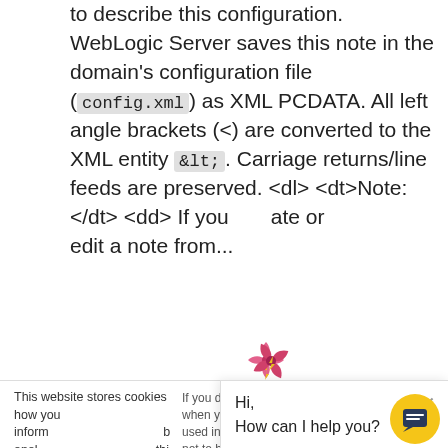to describe this configuration. WebLogic Server saves this note in the domain's configuration file (config.xml) as XML PCDATA. All left angle brackets (<) are converted to the XML entity &lt;. Carriage returns/line feeds are preserved. <dl> <dt>Note:</dt> <dd> If you create or edit a note from...
This website stores cookies on your computer to collect information about how you interact with our website and allow us to remember you. We use this information in order to improve and customize your browsing experience and for analytics and metrics about our visitors both on this website and other media. To find out more, please read our Privacy Policy.
If you decline, your information won't be tracked when you visit this website. A single cookie will be used in your browser to remember your preference not to be tracked.
Hi,
How can I help you?

Are you looking at this page because you are struggling with wlst scripts?